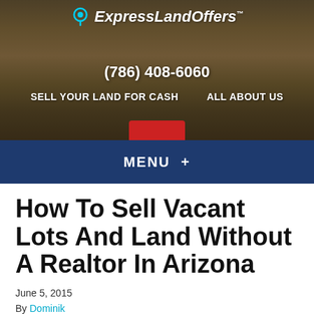[Figure (screenshot): ExpressLandOffers website header with mountain landscape background photo, logo with map pin icon, phone number (786) 408-6060, navigation links SELL YOUR LAND FOR CASH and ALL ABOUT US, and a partially visible red button]
MENU +
How To Sell Vacant Lots And Land Without A Realtor In Arizona
June 5, 2015
By Dominik
Do you have land to sell in Arizona? If you own land but don't want to sell it through a real estate agent then